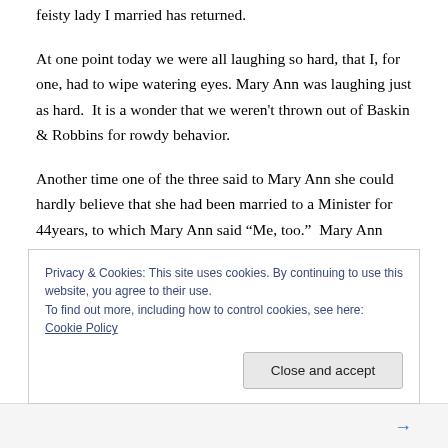feisty lady I married has returned.
At one point today we were all laughing so hard, that I, for one, had to wipe watering eyes. Mary Ann was laughing just as hard.  It is a wonder that we weren't thrown out of Baskin & Robbins for rowdy behavior.
Another time one of the three said to Mary Ann she could hardly believe that she had been married to a Minister for 44years, to which Mary Ann said “Me, too.”  Mary Ann asked one of the three how someone in her circle was doing.  It was a completely appropriate question coming
Privacy & Cookies: This site uses cookies. By continuing to use this website, you agree to their use.
To find out more, including how to control cookies, see here: Cookie Policy